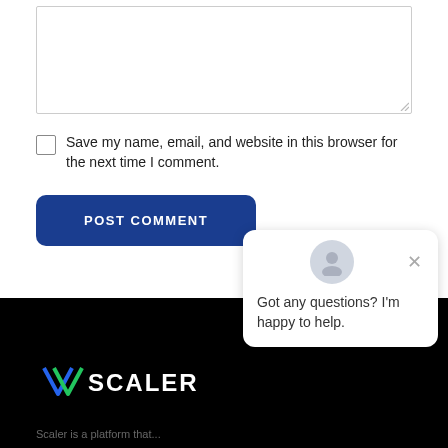[Figure (screenshot): A large text area input box with a resize handle in the bottom-right corner]
Save my name, email, and website in this browser for the next time I comment.
POST COMMENT
[Figure (screenshot): Chat popup widget with avatar, close button, and text: Got any questions? I'm happy to help.]
[Figure (logo): VScaler logo in white text on black background, with V in green/blue italic]
Scaler is a platform that...